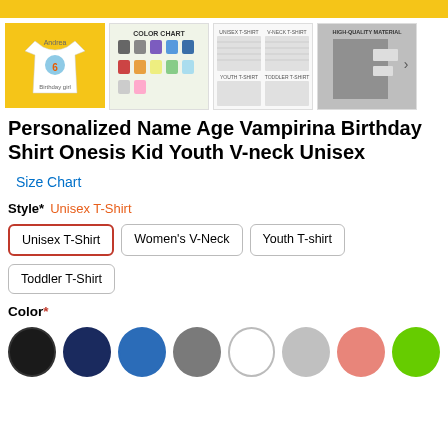[Figure (screenshot): E-commerce product page for Personalized Name Age Vampirina Birthday Shirt. Shows product images at top including main shirt image on yellow background, color chart, size chart, and material info. Below are product title, size chart link, style selector showing Unisex T-Shirt selected, style option buttons (Unisex T-Shirt, Women's V-Neck, Youth T-shirt, Toddler T-Shirt), color label, and color swatch circles.]